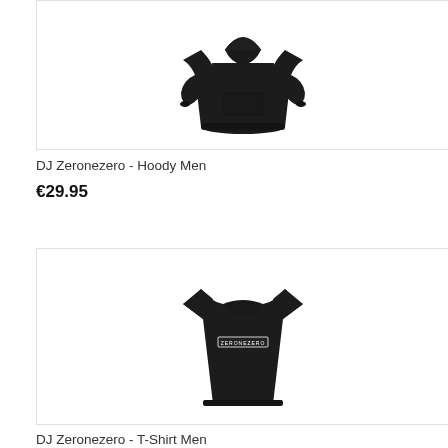[Figure (photo): Black hoodie product image on white background]
DJ Zeronezero - Hoody Men
€29.95
[Figure (photo): Black t-shirt with ZERONEZERO logo on white background]
DJ Zeronezero - T-Shirt Men